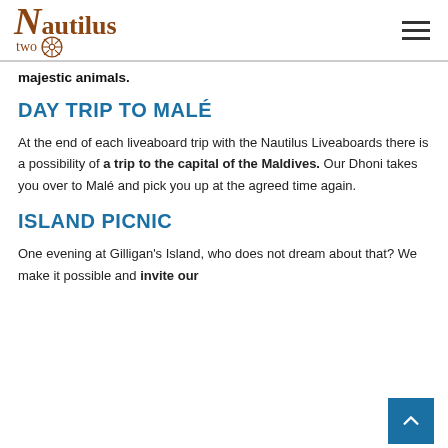Nautilus two [logo with ship wheel]
majestic animals.
DAY TRIP TO MALÉ
At the end of each liveaboard trip with the Nautilus Liveaboards there is a possibility of a trip to the capital of the Maldives. Our Dhoni takes you over to Malé and pick you up at the agreed time again.
ISLAND PICNIC
One evening at Gilligan's Island, who does not dream about that? We make it possible and invite our